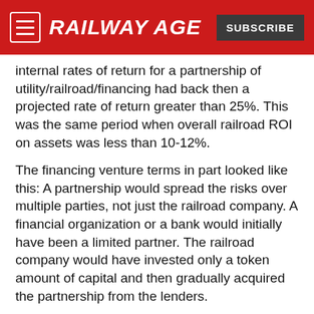RAILWAY AGE | SUBSCRIBE
internal rates of return for a partnership of utility/railroad/financing had back then a projected rate of return greater than 25%. This was the same period when overall railroad ROI on assets was less than 10-12%.
The financing venture terms in part looked like this: A partnership would spread the risks over multiple parties, not just the railroad company. A financial organization or a bank would initially have been a limited partner. The railroad company would have invested only a token amount of capital and then gradually acquired the partnership from the lenders.